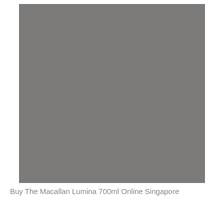[Figure (photo): A solid gray rectangular image placeholder, uniformly colored in a medium gray tone.]
Buy The Macallan Lumina 700ml Online Singapore